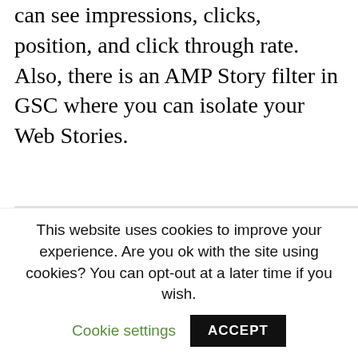can see impressions, clicks, position, and click through rate. Also, there is an AMP Story filter in GSC where you can isolate your Web Stories.
[Figure (screenshot): Google Search Console screenshot showing the 'Search Appearance' tab selected in the navigation, with filter options listed below: Search Appearance, AMP non-rich results, AMP story (highlighted with red border), AMP article, How-to rich results, Videos.]
This website uses cookies to improve your experience. Are you ok with the site using cookies? You can opt-out at a later time if you wish. Cookie settings ACCEPT